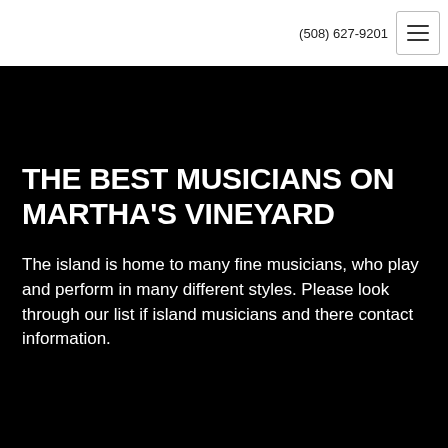(508) 627-9201
THE BEST MUSICIANS ON MARTHA'S VINEYARD
The island is home to many fine musicians, who play and perform in many different styles. Please look through our list if island musicians and there contact information.